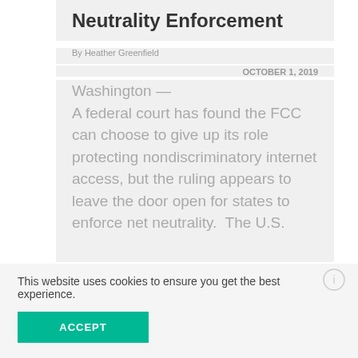Neutrality Enforcement
By Heather Greenfield
OCTOBER 1, 2019
Washington — A federal court has found the FCC can choose to give up its role protecting nondiscriminatory internet access, but the ruling appears to leave the door open for states to enforce net neutrality.  The U.S.
This website uses cookies to ensure you get the best experience.
ACCEPT